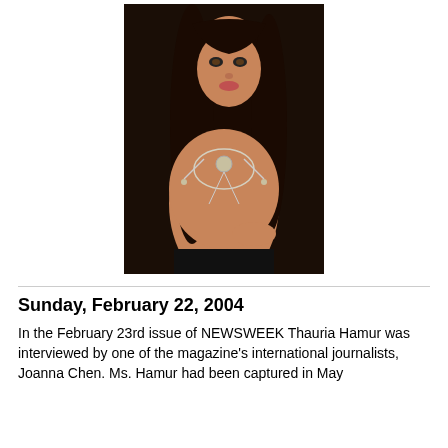[Figure (photo): Portrait photo of a woman with long dark hair wearing a silver jeweled top/body chain, posed against a dark background]
Sunday, February 22, 2004
In the February 23rd issue of NEWSWEEK Thauria Hamur was interviewed by one of the magazine's international journalists, Joanna Chen. Ms. Hamur had been captured in May